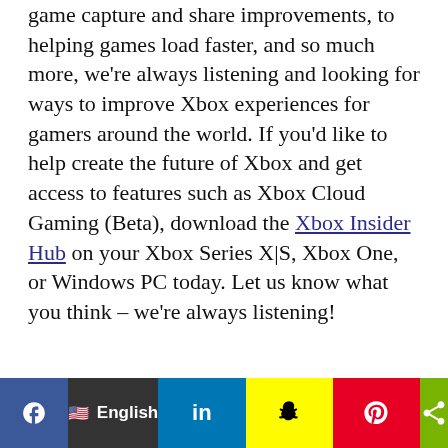game capture and share improvements, to helping games load faster, and so much more, we're always listening and looking for ways to improve Xbox experiences for gamers around the world. If you'd like to help create the future of Xbox and get access to features such as Xbox Cloud Gaming (Beta), download the Xbox Insider Hub on your Xbox Series X|S, Xbox One, or Windows PC today. Let us know what you think – we're always listening!
// Facebook Script.
XboxUtils.isCookieClear(function () {
window.fbAsyncInit = function() {
FB.init({
appId : '451154101753332',
xfbml : true,
version : 'v9.0'
});
[Figure (infographic): Social media sharing bar at bottom with Facebook (blue), language selector showing English flag, LinkedIn (blue), Snapchat (yellow), Pinterest (red), and share (green) buttons]